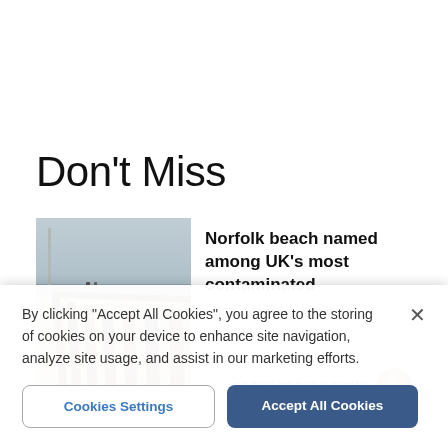Don't Miss
[Figure (photo): Beach photo showing wooden groyne posts on a sandy beach with sea and cloudy sky in background]
Norfolk beach named among UK's most contaminated
CASEY COOPER-FISKE
By clicking “Accept All Cookies”, you agree to the storing of cookies on your device to enhance site navigation, analyze site usage, and assist in our marketing efforts.
Cookies Settings
Accept All Cookies